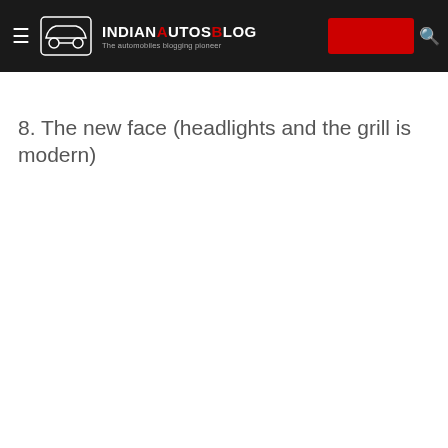IndianAutosBlog — The automobiles blogging pioneer
8. The new face (headlights and the grill is modern)